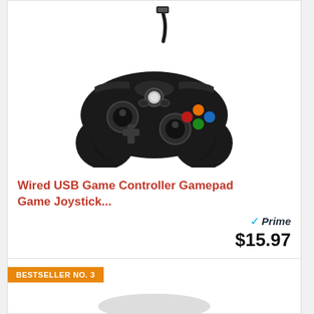[Figure (photo): Black wired USB game controller/gamepad with colored buttons (orange, blue, green, red) and USB cable, shown on white background]
Wired USB Game Controller Gamepad Game Joystick...
Prime $15.97
Buy on Amazon
BESTSELLER NO. 3